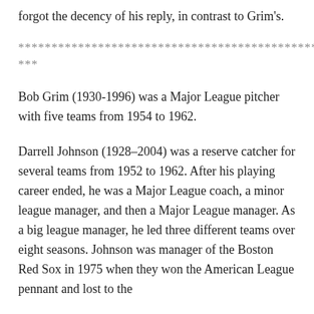forgot the decency of his reply, in contrast to Grim's.
*************************************************** ***
Bob Grim (1930-1996) was a Major League pitcher with five teams from 1954 to 1962.
Darrell Johnson (1928–2004) was a reserve catcher for several teams from 1952 to 1962. After his playing career ended, he was a Major League coach, a minor league manager, and then a Major League manager. As a big league manager, he led three different teams over eight seasons. Johnson was manager of the Boston Red Sox in 1975 when they won the American League pennant and lost to the